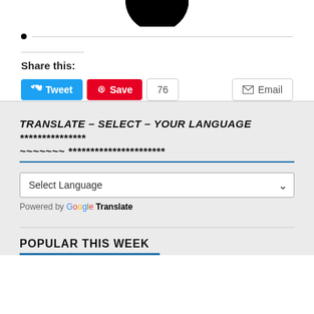[Figure (logo): Circular logo, half black half white, split vertically, at top of page]
bullet point with horizontal rule
Share this:
Tweet  Save  76  Email
TRANSLATE – SELECT – YOUR LANGUAGE *************** ~~~~~~~ **********************
Select Language  (dropdown)  Powered by Google Translate
POPULAR THIS WEEK